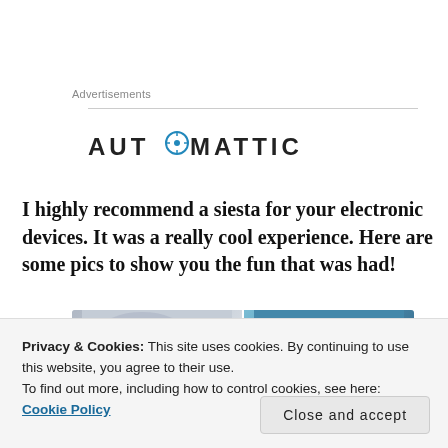Advertisements
[Figure (logo): Automattic logo with circular compass/target icon replacing the letter O]
I highly recommend a siesta for your electronic devices. It was a really cool experience. Here are some pics to show you the fun that was had!
[Figure (photo): Two side-by-side photos partially visible: left shows hands/device scene, right shows blue circular objects]
Privacy & Cookies: This site uses cookies. By continuing to use this website, you agree to their use.
To find out more, including how to control cookies, see here: Cookie Policy
Close and accept